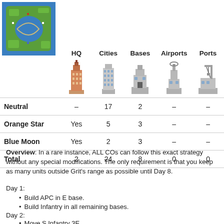|  | HQ | Cities | Bases | Airports | Ports |
| --- | --- | --- | --- | --- | --- |
| Neutral | – | 17 | 2 | – | – |
| Orange Star | Yes | 5 | 3 | – | – |
| Blue Moon | Yes | 2 | 3 | – | – |
| Total | 2 | 24 | 8 | 0 | 0 |
Overview: In a rare instance, ALL COs can follow this exact strategy without any special modifications. The only requirement is that you keep as many units outside Grit's range as possible until Day 8.
Day 1:
Build APC in E base.
Build Infantry in all remaining bases.
Day 2:
Move S Infantry 3E.
Load Infantry into APC and move APC 1S 4E and drop Infantry